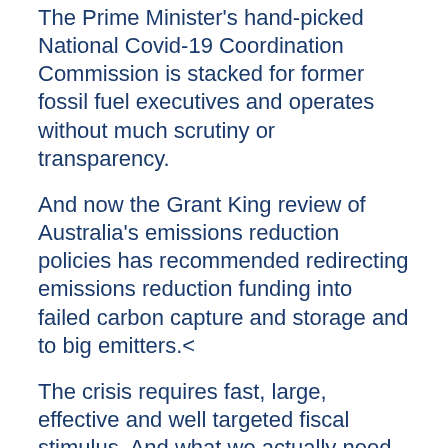The Prime Minister's hand-picked National Covid-19 Coordination Commission is stacked for former fossil fuel executives and operates without much scrutiny or transparency.
And now the Grant King review of Australia's emissions reduction policies has recommended redirecting emissions reduction funding into failed carbon capture and storage and to big emitters.<
The crisis requires fast, large, effective and well targeted fiscal stimulus. And what we actually need is less gas, not more.
Subsidising the gas industry is a very poor option for stimulus and recovery spending and would make climate change worse.